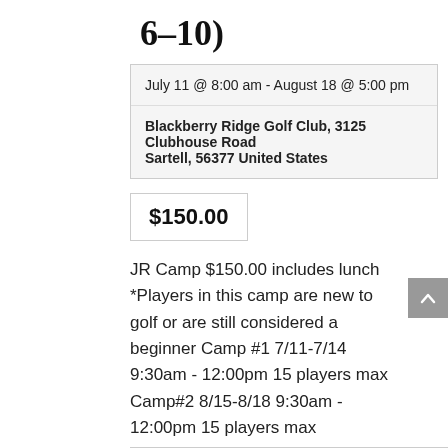6–10)
| July 11 @ 8:00 am - August 18 @ 5:00 pm |
| Blackberry Ridge Golf Club, 3125 Clubhouse Road
Sartell, 56377 United States |
$150.00
JR Camp $150.00 includes lunch *Players in this camp are new to golf or are still considered a beginner Camp #1 7/11-7/14 9:30am - 12:00pm 15 players max Camp#2 8/15-8/18 9:30am - 12:00pm 15 players max
Find out more »